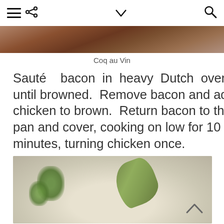Navigation bar with hamburger menu, share icon, chevron down, and search icon
[Figure (photo): Top portion of a Coq au Vin dish photo, partially visible at top of page]
Coq au Vin
Sauté bacon in heavy Dutch oven until browned. Remove bacon and add chicken to brown. Return bacon to the pan and cover, cooking on low for 10 minutes, turning chicken once.
[Figure (photo): Close-up photo of Coq au Vin ingredients showing onions, fresh thyme herbs, and a large bay leaf on a light background]